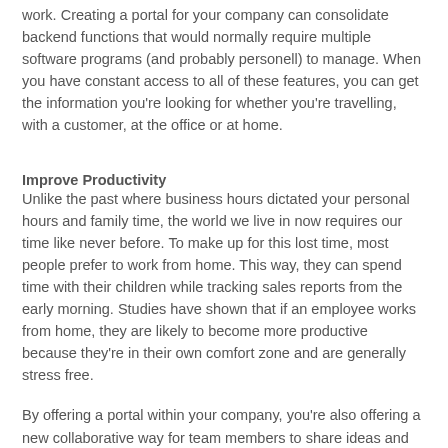work. Creating a portal for your company can consolidate backend functions that would normally require multiple software programs (and probably personell) to manage. When you have constant access to all of these features, you can get the information you're looking for whether you're travelling, with a customer, at the office or at home.
Improve Productivity
Unlike the past where business hours dictated your personal hours and family time, the world we live in now requires our time like never before. To make up for this lost time, most people prefer to work from home. This way, they can spend time with their children while tracking sales reports from the early morning. Studies have shown that if an employee works from home, they are likely to become more productive because they're in their own comfort zone and are generally stress free.
By offering a portal within your company, you're also offering a new collaborative way for team members to share ideas and work on projects. What used to take days of mailing revisions back and forth and waiting hours for travelling employees to arrive at their destinations, can now take minutes over the Internet. Imagine having all of your employees logged in to the company portal from wherever they are in the world and be able to provide the same level of quality